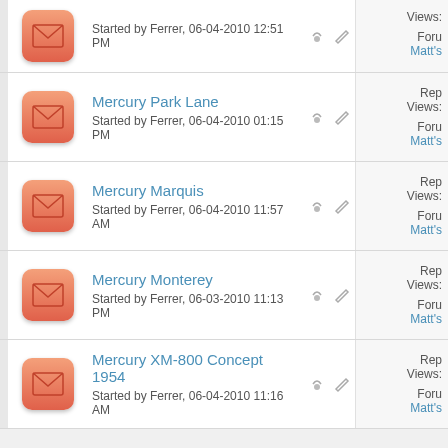Started by Ferrer, 06-04-2010 12:51 PM
Mercury Park Lane - Started by Ferrer, 06-04-2010 01:15 PM
Mercury Marquis - Started by Ferrer, 06-04-2010 11:57 AM
Mercury Monterey - Started by Ferrer, 06-03-2010 11:13 PM
Mercury XM-800 Concept 1954 - Started by Ferrer, 06-04-2010 11:16 AM